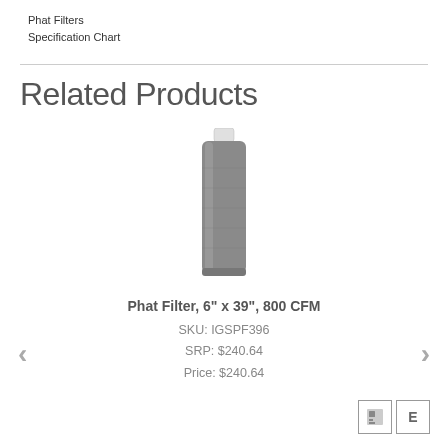Phat Filters
Specification Chart
Related Products
[Figure (photo): Phat Filter product image — tall cylindrical grey carbon air filter with white fitting on top]
Phat Filter, 6" x 39", 800 CFM
SKU: IGSPF396
SRP: $240.64
Price: $240.64